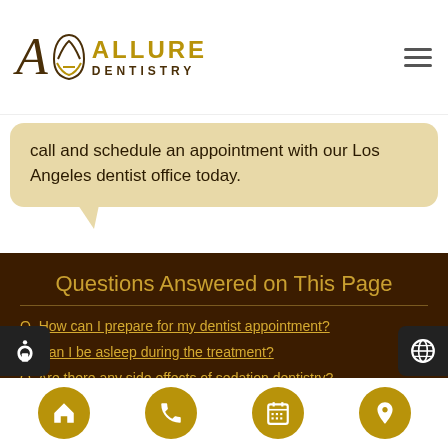[Figure (logo): Allure Dentistry logo with stylized A and gold text]
call and schedule an appointment with our Los Angeles dentist office today.
Questions Answered on This Page
Q. How can I prepare for my dentist appointment?
Q. Can I be asleep during the treatment?
Q. Are there any side effects of sedation dentistry?
People Also Ask